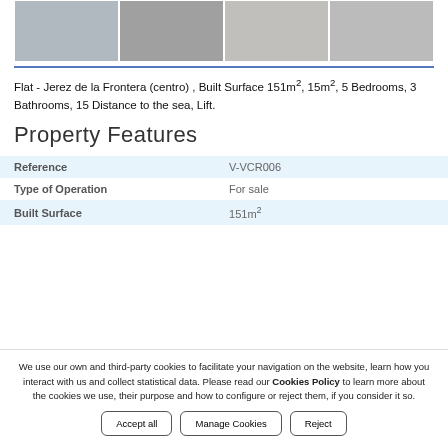[Figure (photo): Row of four property interior/exterior photos showing street view, entrance door, hallway, and another interior area]
Flat - Jerez de la Frontera (centro) , Built Surface 151m², 15m², 5 Bedrooms, 3 Bathrooms, 15 Distance to the sea, Lift.
Property Features
| Reference | V-VCR006 |
| --- | --- |
| Reference | V-VCR006 |
| Type of Operation | For sale |
| Built Surface | 151m² |
We use our own and third-party cookies to facilitate your navigation on the website, learn how you interact with us and collect statistical data. Please read our Cookies Policy to learn more about the cookies we use, their purpose and how to configure or reject them, if you consider it so.